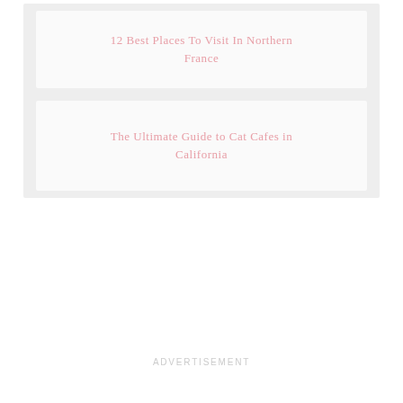12 Best Places To Visit In Northern France
The Ultimate Guide to Cat Cafes in California
ADVERTISEMENT